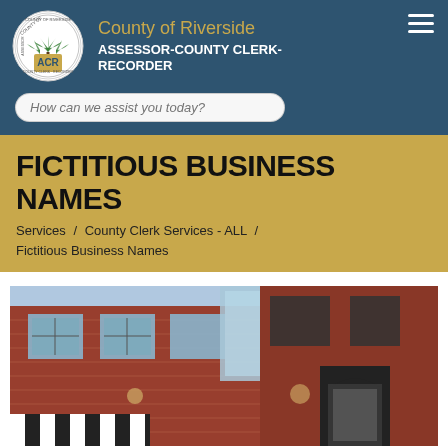County of Riverside ASSESSOR-COUNTY CLERK-RECORDER
How can we assist you today?
FICTITIOUS BUSINESS NAMES
Services / County Clerk Services - ALL / Fictitious Business Names
[Figure (photo): Exterior photo of a brick commercial building with black awnings and striped canopy, blue sky visible]